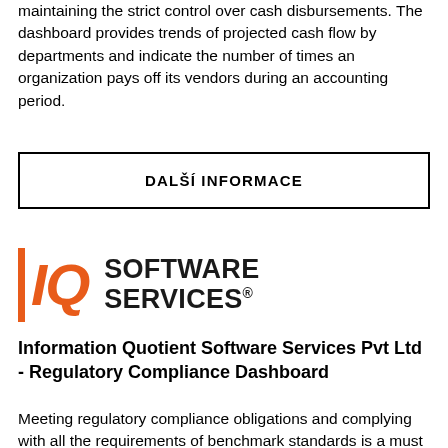maintaining the strict control over cash disbursements. The dashboard provides trends of projected cash flow by departments and indicate the number of times an organization pays off its vendors during an accounting period.
DALŠÍ INFORMACE
[Figure (logo): IQ Software Services logo with orange vertical bar, stylized IQ letters in orange italic, and bold black text SOFTWARE SERVICES with registered trademark symbol]
Information Quotient Software Services Pvt Ltd - Regulatory Compliance Dashboard
Meeting regulatory compliance obligations and complying with all the requirements of benchmark standards is a must